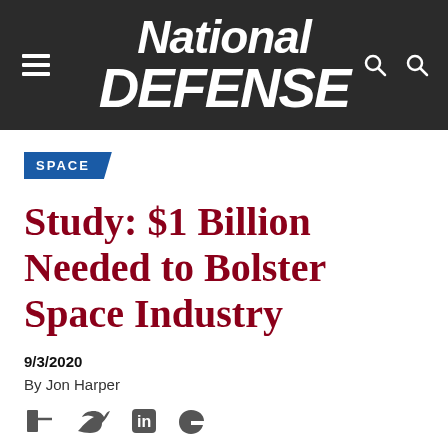National DEFENSE
SPACE
Study: $1 Billion Needed to Bolster Space Industry
9/3/2020
By Jon Harper